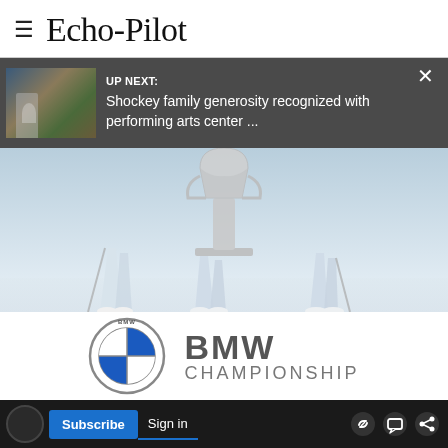Echo-Pilot
UP NEXT: Shockey family generosity recognized with performing arts center ...
[Figure (photo): Golf players legs walking near a trophy, light blue/white washed tones]
[Figure (logo): BMW Championship logo with BMW roundel and text BMW CHAMPIONSHIP]
TODAY-SUNDAY
WATCH LIVE
Subscribe  Sign in